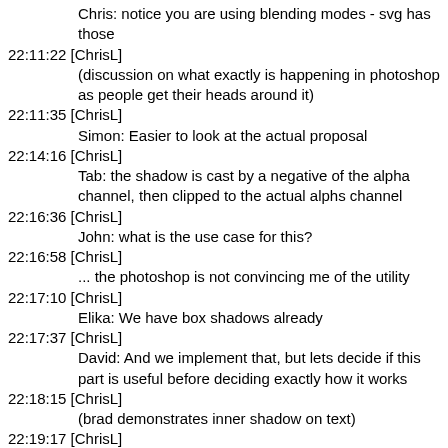Chris: notice you are using blending modes - svg has those
22:11:22 [ChrisL]
(discussion on what exactly is happening in photoshop as people get their heads around it)
22:11:35 [ChrisL]
Simon: Easier to look at the actual proposal
22:14:16 [ChrisL]
Tab: the shadow is cast by a negative of the alpha channel, then clipped to the actual alphs channel
22:16:36 [ChrisL]
John: what is the use case for this?
22:16:58 [ChrisL]
... the photoshop is not convincing me of the utility
22:17:10 [ChrisL]
Elika: We have box shadows already
22:17:37 [ChrisL]
David: And we implement that, but lets decide if this part is useful before deciding exactly how it works
22:18:15 [ChrisL]
(brad demonstrates inner shadow on text)
22:19:17 [ChrisL]
Simon: With box and text shadow, the shadow does not depend on the transparency of the element
22:19:46 [ChrisL]